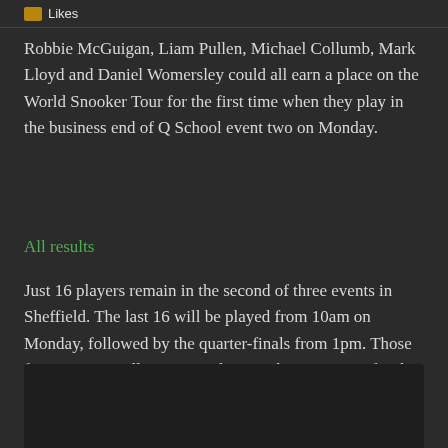Likes
Robbie McGuigan, Liam Pullen, Michael Collumb, Mark Lloyd and Daniel Womersley could all earn a place on the World Snooker Tour for the first time when they play in the business end of Q School event two on Monday.
All results
Just 16 players remain in the second of three events in Sheffield. The last 16 will be played from 10am on Monday, followed by the quarter-finals from 1pm. Those four winners will receive a place on the pro circuit for the next two seasons.
[Figure (other): Dark rectangular box at bottom of page, likely an embedded media or image placeholder]